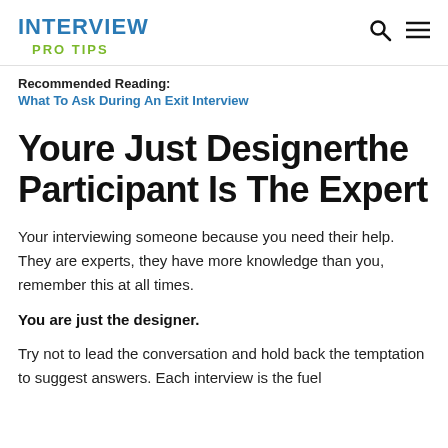INTERVIEW PRO TIPS
Recommended Reading:
What To Ask During An Exit Interview
Youre Just Designerthe Participant Is The Expert
Your interviewing someone because you need their help. They are experts, they have more knowledge than you, remember this at all times.
You are just the designer.
Try not to lead the conversation and hold back the temptation to suggest answers. Each interview is the fuel